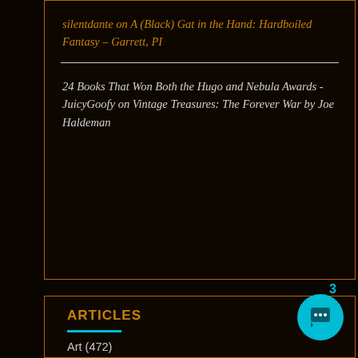silentdante on A (Black) Gat in the Hand: Hardboiled Fantasy – Garrett, PI
24 Books That Won Both the Hugo and Nebula Awards - JuicyGoofy on Vintage Treasures: The Forever War by Joe Haldeman
ARTICLES
Art (472)